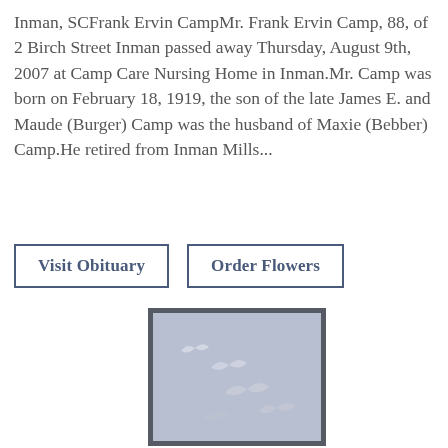Inman, SCFrank Ervin CampMr. Frank Ervin Camp, 88, of 2 Birch Street Inman passed away Thursday, August 9th, 2007 at Camp Care Nursing Home in Inman.Mr. Camp was born on February 18, 1919, the son of the late James E. and Maude (Burger) Camp was the husband of Maxie (Bebber) Camp.He retired from Inman Mills...
Visit Obituary
Order Flowers
[Figure (illustration): Framed image with a light blue-gray background showing silhouettes of birds in flight]